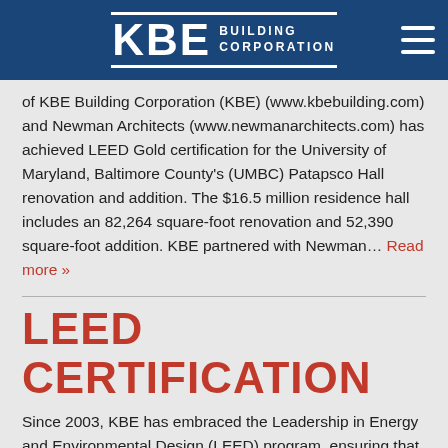KBE BUILDING CORPORATION
of KBE Building Corporation (KBE) (www.kbebuilding.com) and Newman Architects (www.newmanarchitects.com) has achieved LEED Gold certification for the University of Maryland, Baltimore County's (UMBC) Patapsco Hall renovation and addition. The $16.5 million residence hall includes an 82,264 square-foot renovation and 52,390 square-foot addition. KBE partnered with Newman... Read more »
LEED CERTIFICATION
Since 2003, KBE has embraced the Leadership in Energy and Environmental Design (LEED) program, ensuring that many of the buildings that they design and/or